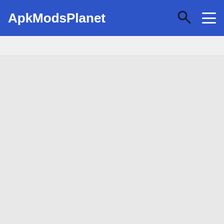ApkModsPlanet
[Figure (screenshot): Search bar / input field below the navigation header]
[Figure (screenshot): Empty grey content area]